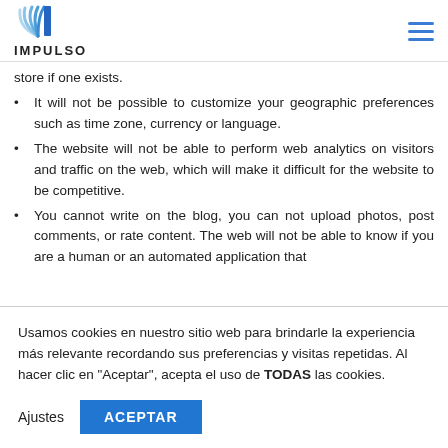IMPULSO
store if one exists.
It will not be possible to customize your geographic preferences such as time zone, currency or language.
The website will not be able to perform web analytics on visitors and traffic on the web, which will make it difficult for the website to be competitive.
You cannot write on the blog, you can not upload photos, post comments, or rate content. The web will not be able to know if you are a human or an automated application that
Usamos cookies en nuestro sitio web para brindarle la experiencia más relevante recordando sus preferencias y visitas repetidas. Al hacer clic en "Aceptar", acepta el uso de TODAS las cookies.
Ajustes  ACEPTAR